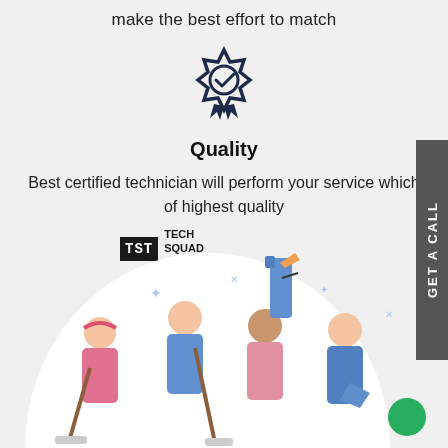make the best effort to match
[Figure (illustration): Badge/award icon with checkmark, dark navy color]
Quality
Best certified technician will perform your service which of highest quality
[Figure (logo): Tech Squad Team (TST) logo]
[Figure (illustration): Group of cleaning technicians with cleaning equipment on white circle background]